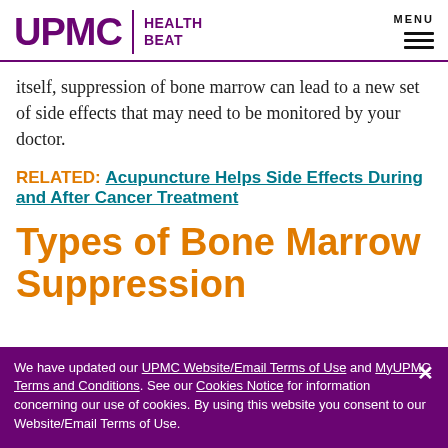UPMC | HEALTH BEAT
itself, suppression of bone marrow can lead to a new set of side effects that may need to be monitored by your doctor.
RELATED: Acupuncture Helps Side Effects During and After Cancer Treatment
Types of Bone Marrow Suppression
We have updated our UPMC Website/Email Terms of Use and MyUPMC Terms and Conditions. See our Cookies Notice for information concerning our use of cookies. By using this website you consent to our Website/Email Terms of Use.